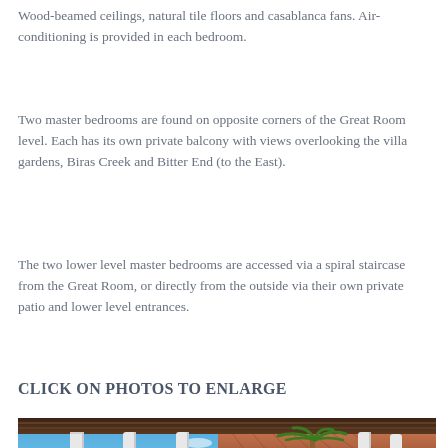Wood-beamed ceilings, natural tile floors and casablanca fans. Air-conditioning is provided in each bedroom.
Two master bedrooms are found on opposite corners of the Great Room level. Each has its own private balcony with views overlooking the villa gardens, Biras Creek and Bitter End (to the East).
The two lower level master bedrooms are accessed via a spiral staircase from the Great Room, or directly from the outside via their own private patio and lower level entrances.
CLICK ON PHOTOS TO ENLARGE
[Figure (photo): Outdoor pool area of a Caribbean villa with white columns, terracotta roof tiles, a palm tree, blue ocean and sky in the background, with lounge chairs visible on either side. Navigation arrows are overlaid on the left and right sides.]